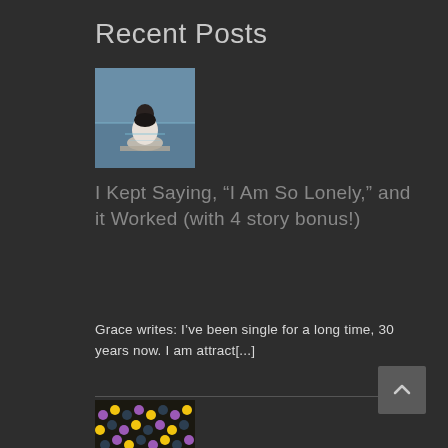Recent Posts
[Figure (photo): Person sitting alone by water, viewed from behind, wearing white jacket]
I Kept Saying, “I Am So Lonely,” and it Worked (with 4 story bonus!)
Grace writes: I’ve been single for a long time, 30 years now. I am attract[...]
[Figure (photo): Colorful beaded jewelry or craft items closeup with purple, yellow, and black beads]